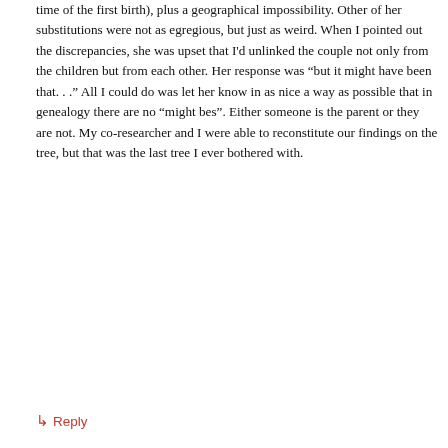time of the first birth), plus a geographical impossibility. Other of her substitutions were not as egregious, but just as weird. When I pointed out the discrepancies, she was upset that I'd unlinked the couple not only from the children but from each other. Her response was “but it might have been that. . .” All I could do was let her know in as nice a way as possible that in genealogy there are no “might bes”. Either someone is the parent or they are not. My co-researcher and I were able to reconstitute our findings on the tree, but that was the last tree I ever bothered with.
↳ Reply